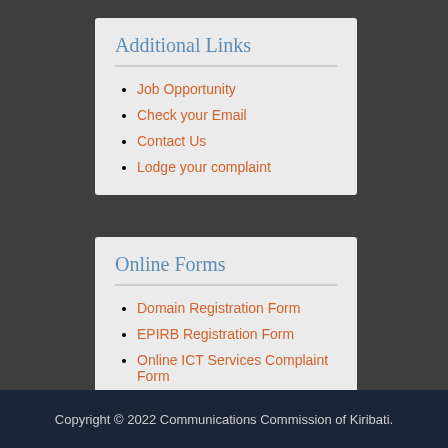Additional Links
Job Opportunity
Check your Email
Contact Us
Lodge your complaint
Online Forms
Domain Registration Form
EPIRB Registration Form
Online ICT Services Complaint Form
Amateur Radio Application
Copyright © 2022 Communications Commission of Kiribati.